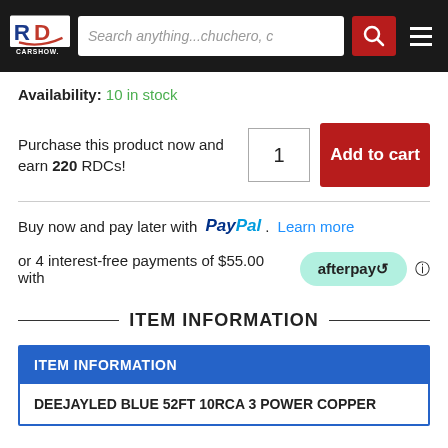[Figure (screenshot): RD Carshow website navigation header with logo, search bar, search button, and menu icon]
Availability: 10 in stock
Purchase this product now and earn 220 RDCs!
Buy now and pay later with PayPal. Learn more
or 4 interest-free payments of $55.00 with afterpay
ITEM INFORMATION
| ITEM INFORMATION |
| --- |
| DEEJAYLED BLUE 52FT 10RCA 3 POWER COPPER |